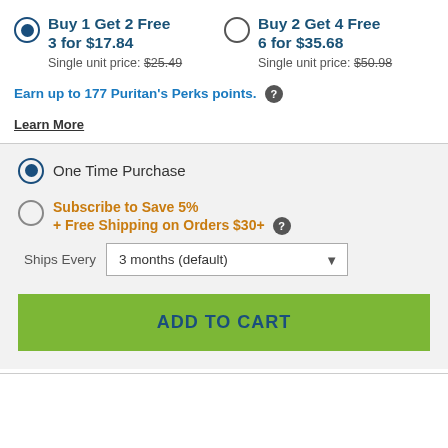Buy 1 Get 2 Free 3 for $17.84, Single unit price: $25.49
Buy 2 Get 4 Free 6 for $35.68, Single unit price: $50.98
Earn up to 177 Puritan's Perks points.
Learn More
One Time Purchase
Subscribe to Save 5% + Free Shipping on Orders $30+
Ships Every 3 months (default)
ADD TO CART